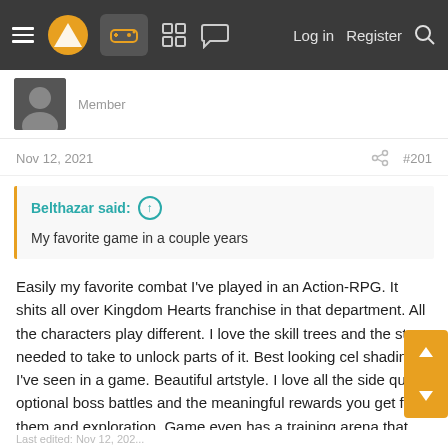Navigation bar with hamburger menu, logo, controller icon, grid icon, chat icon, Log in, Register, Search
Member
Nov 12, 2021   #201
Belthazar said: ↑
My favorite game in a couple years
Easily my favorite combat I've played in an Action-RPG. It shits all over Kingdom Hearts franchise in that department. All the characters play different. I love the skill trees and the steps needed to take to unlock parts of it. Best looking cel shading I've seen in a game. Beautiful artstyle. I love all the side quest optional boss battles and the meaningful rewards you get from them and exploration. Game even has a training arena that gives great rewards. Hell I even like the fishing. The game makes me want to play it even when I'm tired from work. Everything about this game is great.